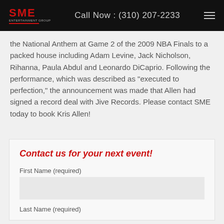SME | Call Now : (310) 207-2233
the National Anthem at Game 2 of the 2009 NBA Finals to a packed house including Adam Levine, Jack Nicholson, Rihanna, Paula Abdul and Leonardo DiCaprio. Following the performance, which was described as "executed to perfection," the announcement was made that Allen had signed a record deal with Jive Records. Please contact SME today to book Kris Allen!
Contact us for your next event!
First Name (required)
Last Name (required)